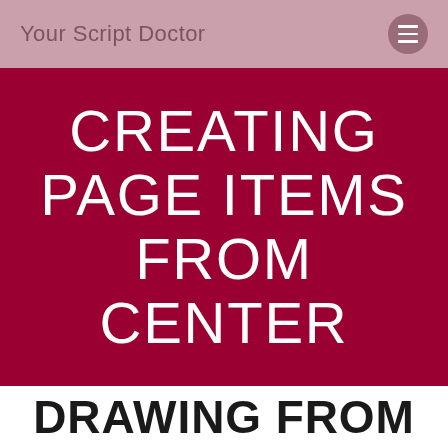Your Script Doctor
CREATING PAGE ITEMS FROM CENTER
DRAWING FROM